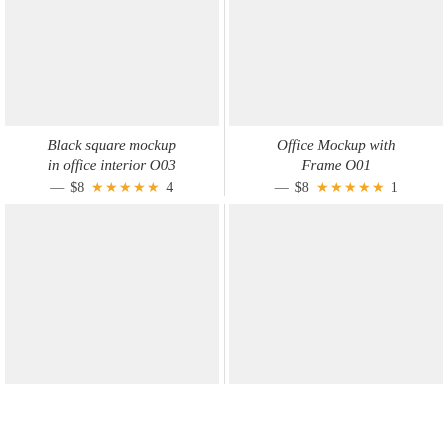[Figure (photo): Light gray placeholder thumbnail image for product - Black square mockup in office interior O03]
Black square mockup in office interior O03 — $8 ★★★★★ 4
[Figure (photo): Light gray placeholder thumbnail image for product - Office Mockup with Frame O01]
Office Mockup with Frame O01 — $8 ★★★★★ 1
[Figure (photo): Light gray placeholder thumbnail image for a bottom-left product]
[Figure (photo): Light gray placeholder thumbnail image for a bottom-right product]